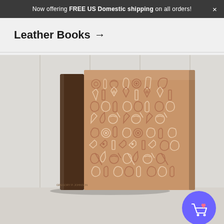Now offering FREE US Domestic shipping on all orders!  ×
Leather Books →
[Figure (photo): A leather-bound book with a dark brown spine and tan/brown patterned cover featuring repeating food science icons (cookies, leaves, glasses, slices, etc.), standing upright on a light surface against a white beadboard background. The book spine text reads 'The Curious And The Science Experiments'. A purple circular shopping cart button with a heart icon is visible in the lower right corner.]